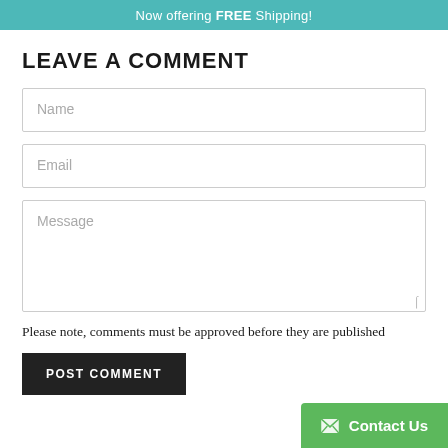Now offering FREE Shipping!
LEAVE A COMMENT
Name
Email
Message
Please note, comments must be approved before they are published
POST COMMENT
Contact Us